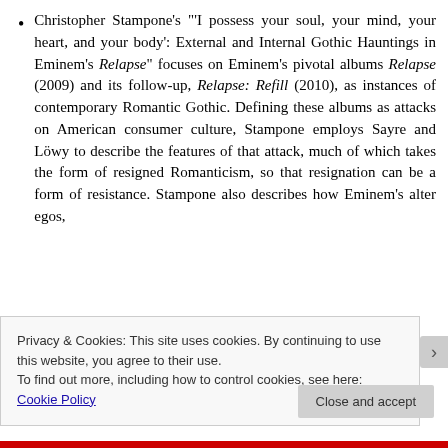Christopher Stampone's "'I possess your soul, your mind, your heart, and your body': External and Internal Gothic Hauntings in Eminem's Relapse" focuses on Eminem's pivotal albums Relapse (2009) and its follow-up, Relapse: Refill (2010), as instances of contemporary Romantic Gothic. Defining these albums as attacks on American consumer culture, Stampone employs Sayre and Löwy to describe the features of that attack, much of which takes the form of resigned Romanticism, so that resignation can be a form of resistance. Stampone also describes how Eminem's alter egos,
Privacy & Cookies: This site uses cookies. By continuing to use this website, you agree to their use.
To find out more, including how to control cookies, see here: Cookie Policy